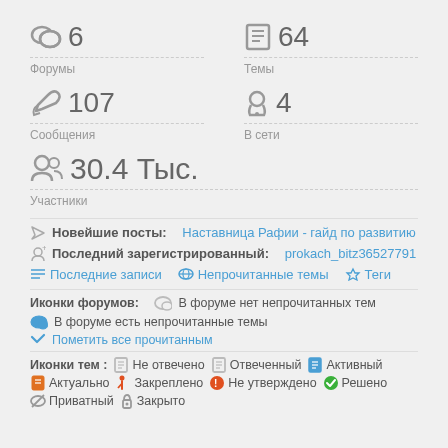6 Форумы
64 Темы
107 Сообщения
4 В сети
30.4 Тыс. Участники
Новейшие посты: Наставница Рафии - гайд по развитию
Последний зарегистрированный: prokach_bitz36527791
Последние записи   Непрочитанные темы   Теги
Иконки форумов:   В форуме нет непрочитанных тем
В форуме есть непрочитанные темы
Пометить все прочитанным
Иконки тем :   Не отвечено   Отвеченный   Активный
Актуально   Закреплено   Не утверждено   Решено
Приватный   Закрыто